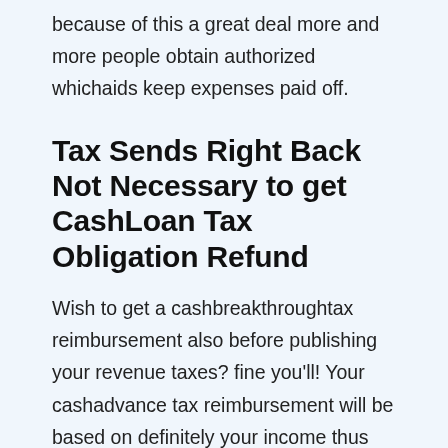because of this a great deal more and more people obtain authorized whichaids keep expenses paid off.
Tax Sends Right Back Not Necessary to get CashLoan Tax Obligation Refund
Wish to get a cashbreakthroughtax reimbursement also before publishing your revenue taxes? fine you'll! Your cashadvance tax reimbursement will be based on definitely your income thus allowing one to search for a cashloan